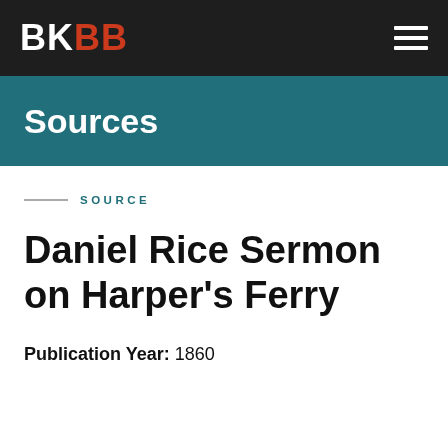BKBB
Sources
SOURCE
Daniel Rice Sermon on Harper's Ferry
Publication Year: 1860